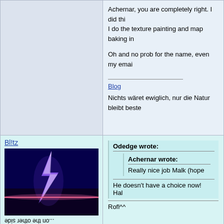Achernar, you are completely right. I did thi... I do the texture painting and map baking in ...
Oh and no prob for the name, even my emai...
Blog
Nichts wäret ewiglich, nur die Natur bleibt beste...
Bl!tz
[Figure (photo): Lightning bolt image on dark blue/black background with pink horizontal light streak]
...on the other side
★★★★★
Status: Offline
Odedge wrote:
Achernar wrote:
Really nice job Malk (hope...
He doesn't have a choice now!  Hal...
Rofl^^